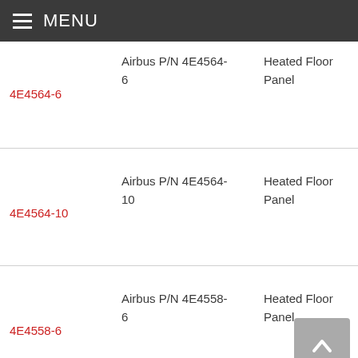MENU
| Part Number | Part Number (Airbus) | Description | Info |
| --- | --- | --- | --- |
| 4E4564-6 | Airbus P/N 4E4564-6 | Heated Floor Panel | In (A -8 (A |
| 4E4564-10 | Airbus P/N 4E4564-10 | Heated Floor Panel | Ai In (A -8 (A |
| 4E4558-6 | Airbus P/N 4E4558-6 | Heated Floor Panel | Ai In (A -8 (A |